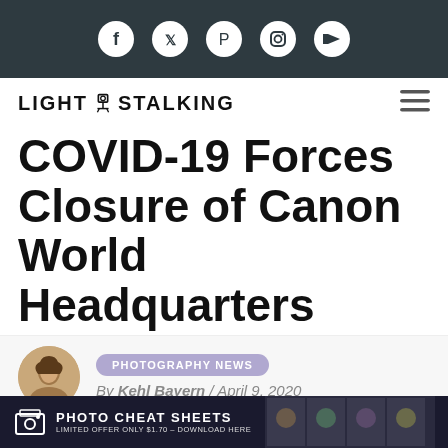[Figure (other): Dark social media bar with icons for Facebook, Twitter, Pinterest, Instagram, YouTube in white circles]
[Figure (logo): Light Stalking logo with camera on tripod icon between LIGHT and STALKING text, plus hamburger menu icon on right]
COVID-19 Forces Closure of Canon World Headquarters
[Figure (photo): Circular headshot avatar of author Kehl Bayern]
PHOTOGRAPHY NEWS
By Kehl Bayern / April 9, 2020
[Figure (infographic): Ad banner: PHOTO CHEAT SHEETS - LIMITED OFFER ONLY $1.70 - DOWNLOAD HERE, with thumbnail images on the right side]